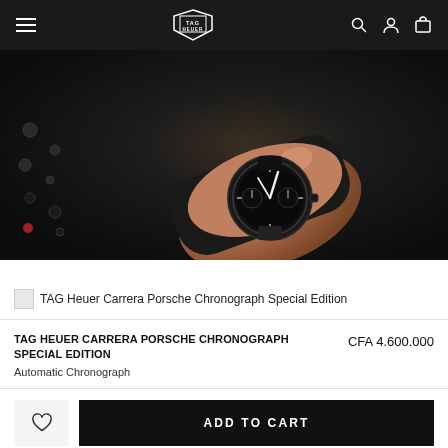TAG Heuer navigation bar with hamburger menu, logo, search, account, and cart icons
[Figure (photo): Close-up photograph of a hand wearing a black TAG Heuer Carrera Porsche Chronograph Special Edition watch, dark background with cockpit-like elements]
TAG Heuer Carrera Porsche Chronograph Special Edition
TAG HEUER CARRERA PORSCHE CHRONOGRAPH SPECIAL EDITION
Automatic Chronograph
CFA 4.600.000
ADD TO CART